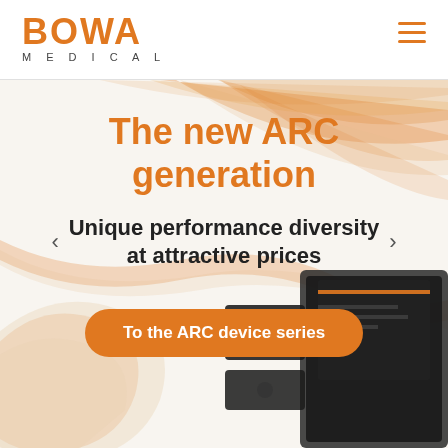[Figure (logo): BOWA MEDICAL logo in orange bold text with 'MEDICAL' subtitle in grey spaced letters]
[Figure (illustration): Hero banner with orange wave ribbon decorations on white/light background, medical electrosurgery devices (ARC series) visible on right side]
The new ARC generation
Unique performance diversity at attractive prices
To the ARC device series